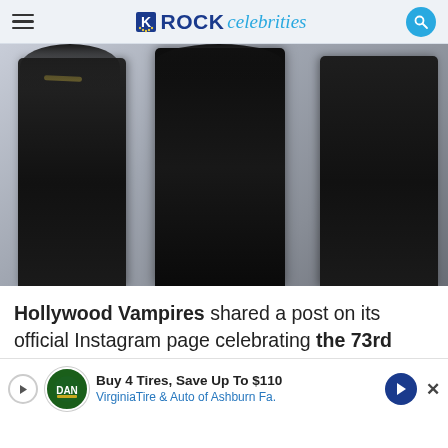ROCK celebrities
[Figure (photo): Three rock musicians posing together against a light gray background, all dressed in dark rock/gothic style clothing. The man on the left has curly hair and sunglasses, the man in the center wears all black leather, and the man on the right has tattoos and wears a dark vest.]
Hollywood Vampires shared a post on its official Instagram page celebrating the 73rd birth... ck,' Alice...
Buy 4 Tires, Save Up To $110 VirginiaTire & Auto of Ashburn Fa.